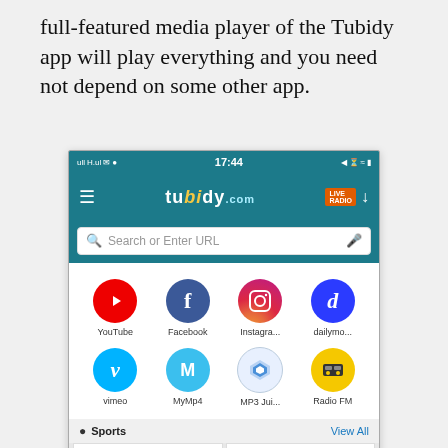full-featured media player of the Tubidy app will play everything and you need not depend on some other app.
[Figure (screenshot): Screenshot of the Tubidy app showing status bar with 17:44, app header with Tubidy logo and Live Radio badge, a search bar with 'Search or Enter URL', a grid of app icons (YouTube, Facebook, Instagram, dailymo..., vimeo, MyMp4, MP3 Jui..., Radio FM), a Sports section header with 'View All', and content cards for Star Sports and FIFATV.]